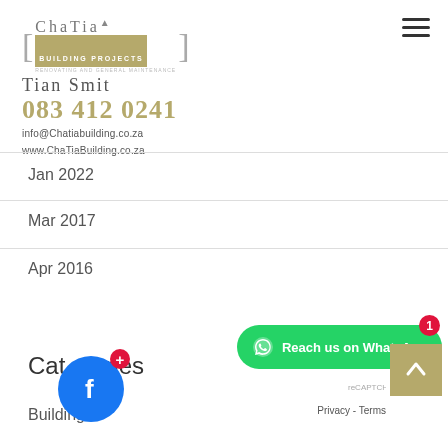[Figure (logo): ChaTia Building Projects logo with name Tian Smit, phone 083 412 0241, email info@Chatiabuilding.co.za, website www.ChaTiaBuilding.co.za]
Jan 2022
Mar 2017
Apr 2016
Categories
Building
[Figure (screenshot): Reach us on WhatsApp green button with badge showing 1 notification]
[Figure (screenshot): Facebook blue circle icon with red plus badge]
[Figure (screenshot): Gold scroll-to-top button with up arrow]
Privacy - Terms